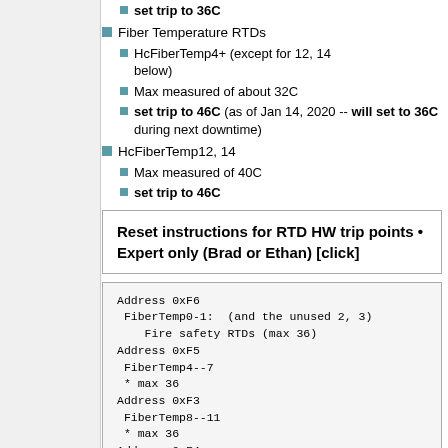set trip to 36C
Fiber Temperature RTDs
HcFiberTemp4+ (except for 12, 14 below)
Max measured of about 32C
set trip to 46C (as of Jan 14, 2020 -- will set to 36C during next downtime)
HcFiberTemp12, 14
Max measured of 40C
set trip to 46C
Reset instructions for RTD HW trip points • Expert only (Brad or Ethan) [click]
Address 0xF6
 FiberTemp0-1:  (and the unused 2, 3)
    Fire safety RTDs (max 36)
Address 0xF5
 FiberTemp4--7
 * max 36
Address 0xF3
 FiberTemp8--11
 * max 36
Address 0xF4